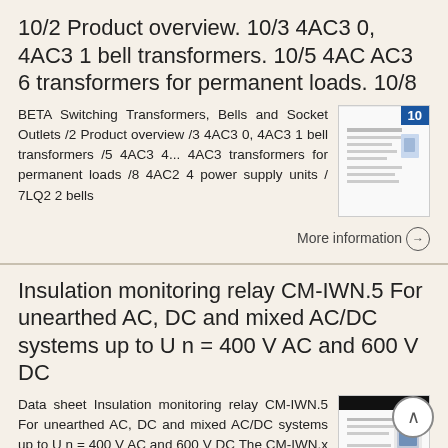10/2 Product overview. 10/3 4AC3 0, 4AC3 1 bell transformers. 10/5 4AC AC3 6 transformers for permanent loads. 10/8
BETA Switching Transformers, Bells and Socket Outlets /2 Product overview /3 4AC3 0, 4AC3 1 bell transformers /5 4AC3 4... 4AC3 transformers for permanent loads /8 4AC2 4 power supply units / 7LQ2 2 bells
[Figure (photo): Thumbnail image of a document page with blue tab labeled '10']
More information →
Insulation monitoring relay CM-IWN.5 For unearthed AC, DC and mixed AC/DC systems up to U n = 400 V AC and 600 V DC
Data sheet Insulation monitoring relay CM-IWN.5 For unearthed AC, DC and mixed AC/DC systems up to U n = 400 V AC and 600 V DC The CM-IWN.x serves to monitor insulation resistance in accordance with IEC
[Figure (photo): Thumbnail image of a data sheet document for CM-IWN.5 insulation monitoring relay]